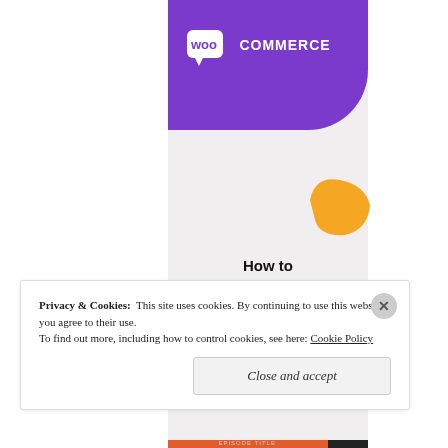[Figure (illustration): WooCommerce branded book cover with purple header containing the WooCommerce logo (speech bubble icon + 'woo COMMERCE' text in white), an orange decorative shape on the right side, and a light gray background. Title text reads 'How to start selling subscriptions online'.]
How to start selling subscriptions online
Privacy & Cookies: This site uses cookies. By continuing to use this website, you agree to their use. To find out more, including how to control cookies, see here: Cookie Policy
Close and accept